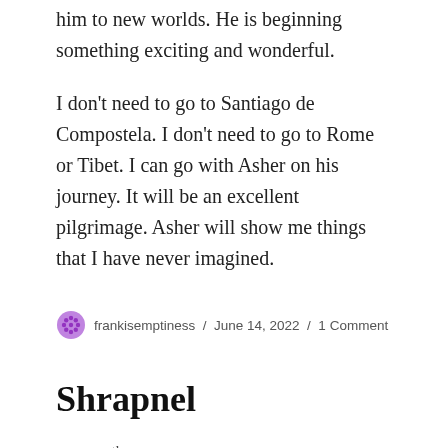him to new worlds. He is beginning something exciting and wonderful.
I don't need to go to Santiago de Compostela. I don't need to go to Rome or Tibet. I can go with Asher on his journey. It will be an excellent pilgrimage. Asher will show me things that I have never imagined.
frankisemptiness / June 14, 2022 / 1 Comment
Shrapnel
June 14th, 2022